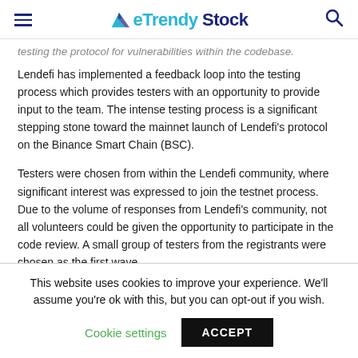eTrendy Stock
testing the protocol for vulnerabilities within the codebase. Lendefi has implemented a feedback loop into the testing process which provides testers with an opportunity to provide input to the team. The intense testing process is a significant stepping stone toward the mainnet launch of Lendefi's protocol on the Binance Smart Chain (BSC).
Testers were chosen from within the Lendefi community, where significant interest was expressed to join the testnet process. Due to the volume of responses from Lendefi's community, not all volunteers could be given the opportunity to participate in the code review. A small group of testers from the registrants were chosen as the first wave.
This website uses cookies to improve your experience. We'll assume you're ok with this, but you can opt-out if you wish. Cookie settings ACCEPT